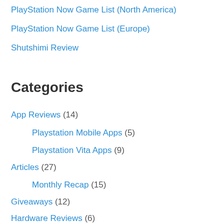PlayStation Now Game List (North America)
PlayStation Now Game List (Europe)
Shutshimi Review
Categories
App Reviews (14)
Playstation Mobile Apps (5)
Playstation Vita Apps (9)
Articles (27)
Monthly Recap (15)
Giveaways (12)
Hardware Reviews (6)
Accessory Reviews (3)
System Reviews (2)